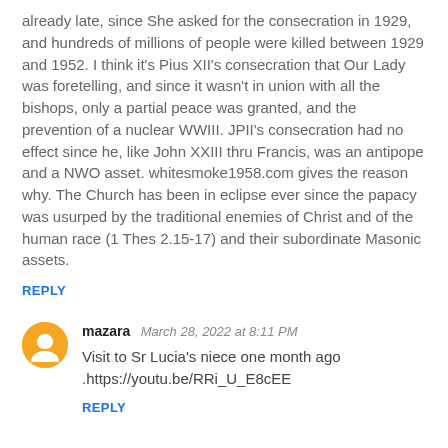already late, since She asked for the consecration in 1929, and hundreds of millions of people were killed between 1929 and 1952. I think it's Pius XII's consecration that Our Lady was foretelling, and since it wasn't in union with all the bishops, only a partial peace was granted, and the prevention of a nuclear WWIII. JPII's consecration had no effect since he, like John XXIII thru Francis, was an antipope and a NWO asset. whitesmoke1958.com gives the reason why. The Church has been in eclipse ever since the papacy was usurped by the traditional enemies of Christ and of the human race (1 Thes 2.15-17) and their subordinate Masonic assets.
REPLY
mazara  March 28, 2022 at 8:11 PM
Visit to Sr Lucia's niece one month ago .https://youtu.be/RRi_U_E8cEE
REPLY